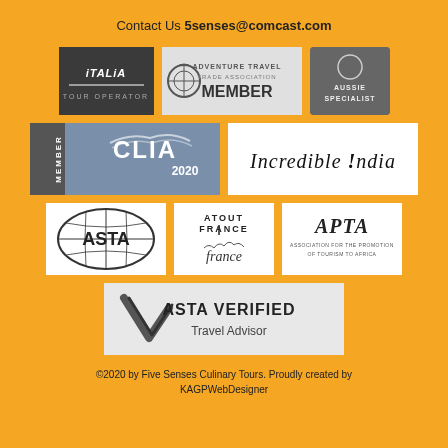Contact Us 5senses@comcast.com
[Figure (logo): Italia logo - dark grey background with white stylized text]
[Figure (logo): Adventure Travel Trade Association Member logo]
[Figure (logo): Australia Aussie Specialist logo - circular grey badge]
[Figure (logo): CLIA Member 2020 logo - blue-grey banner]
[Figure (logo): Incredible India logo - white background with black text]
[Figure (logo): ASTA logo with globe]
[Figure (logo): Atout France logo]
[Figure (logo): APTA logo]
[Figure (logo): ASTA Verified Travel Advisor logo with checkmark]
©2020 by Five Senses Culinary Tours. Proudly created by KAGPWebDesigner